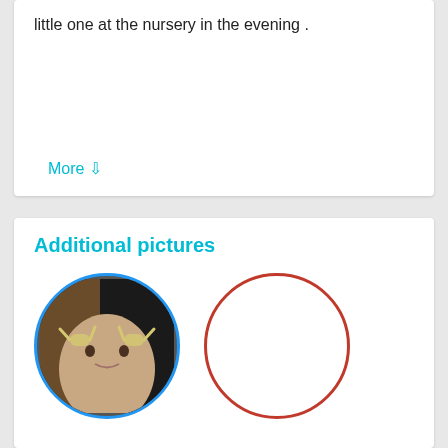little one at the nursery in the evening .
More ⇩
Additional pictures
[Figure (photo): Circular photo of a child with cat ears headband, framed by a blue circle border]
[Figure (other): Empty red circle placeholder]